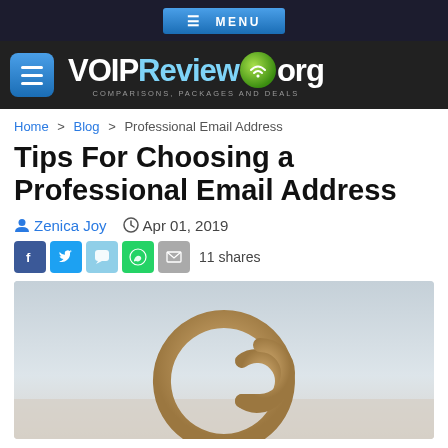≡ MENU
[Figure (logo): VOIPReview.org logo with hamburger menu icon on dark background]
Home > Blog > Professional Email Address
Tips For Choosing a Professional Email Address
Zenica Joy   Apr 01, 2019
11 shares
[Figure (photo): Wooden @ (at) symbol on a table with a light grey background]